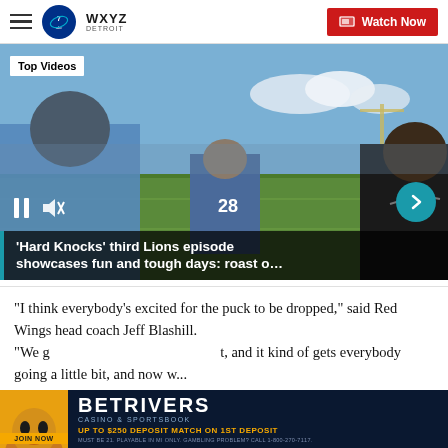WXYZ Detroit — Watch Now
[Figure (screenshot): Video player showing Detroit Lions Hard Knocks footage with players and coach on practice field. Overlay label 'Top Videos', pause and mute controls, next arrow button.]
'Hard Knocks' third Lions episode showcases fun and tough days: roast o…
"I think everybody's excited for the puck to be dropped," said Red Wings head coach Jeff Blashill. "We g... t, and it kind of gets everybody going a little bit, and now w...
[Figure (screenshot): BetRivers Casino & Sportsbook advertisement banner with woman's face and yellow/dark blue color scheme. Text: JOIN NOW, UP TO $250 DEPOSIT MATCH ON 1ST DEPOSIT]